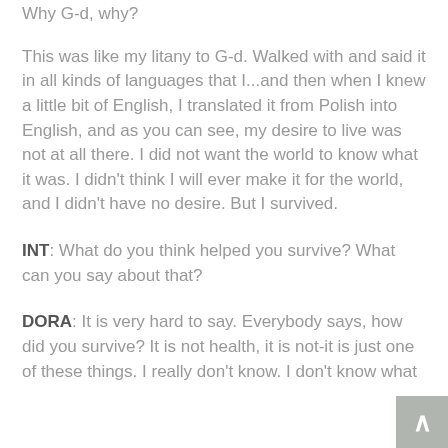Why G-d, why?
This was like my litany to G-d. Walked with and said it in all kinds of languages that I...and then when I knew a little bit of English, I translated it from Polish into English, and as you can see, my desire to live was not at all there. I did not want the world to know what it was. I didn't think I will ever make it for the world, and I didn't have no desire. But I survived.
INT: What do you think helped you survive? What can you say about that?
DORA: It is very hard to say. Everybody says, how did you survive? It is not health, it is not-it is just one of these things. I really don't know. I don't know what